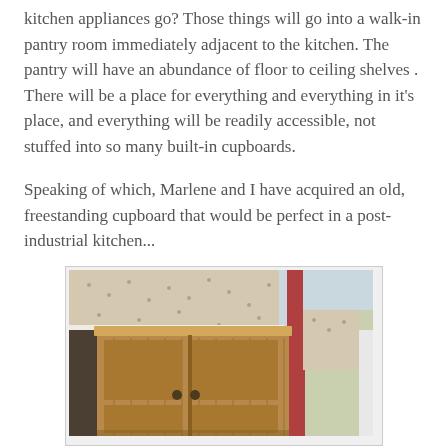kitchen appliances go? Those things will go into a walk-in pantry room immediately adjacent to the kitchen. The pantry will have an abundance of floor to ceiling shelves . There will be a place for everything and everything in it's place, and everything will be readily accessible, not stuffed into so many built-in cupboards.
Speaking of which, Marlene and I have acquired an old, freestanding cupboard that would be perfect in a post-industrial kitchen...
[Figure (photo): A wooden freestanding cupboard with vertical panel doors and small knobs, photographed in a room with patterned wallpaper and a teal/red painted door visible to the right.]